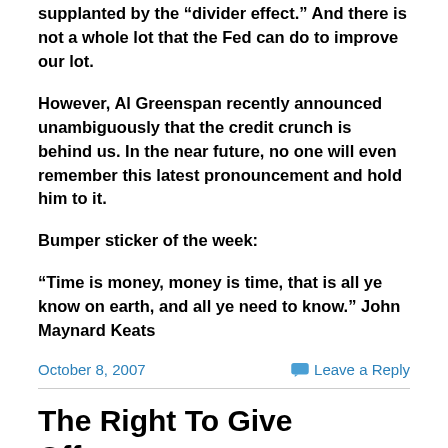supplanted by the “divider effect.”  And there is not a whole lot that the Fed can do to improve our lot.
However, Al Greenspan recently announced unambiguously that the credit crunch is behind us.  In the near future, no one will even remember this latest pronouncement and hold him to it.
Bumper sticker of the week:
“Time is money, money is time, that is all ye know on earth, and all ye need to know.”    John Maynard Keats
October 8, 2007
Leave a Reply
The Right To Give Offense (October 1, 2007)